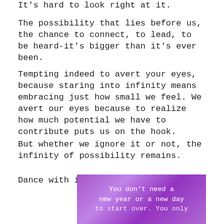It's hard to look right at it.
The possibility that lies before us, the chance to connect, to lead, to be heard-it's bigger than it's ever been.
Tempting indeed to avert your eyes, because staring into infinity means embracing just how small we feel. We avert our eyes because to realize how much potential we have to contribute puts us on the hook.
But whether we ignore it or not, the infinity of possibility remains.
Dance with it.
[Figure (illustration): Purple gradient background image with white typewriter-font text reading 'You don't need a new year or a new day to start over. You only...']